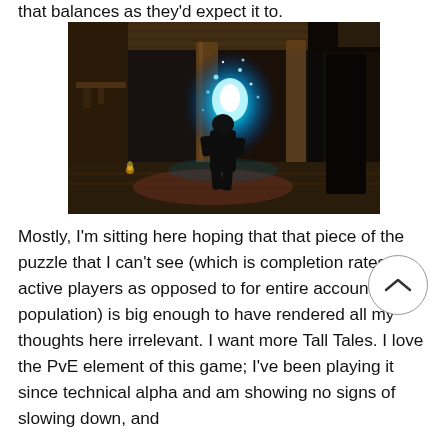that balances as they'd expect it to.
[Figure (screenshot): A dark video game screenshot showing a character standing in a dimly lit wooden room interior with a bright blue-white magical energy burst/portal effect glowing in the center. The room has wooden beams and various objects scattered around.]
Mostly, I'm sitting here hoping that that piece of the puzzle that I can't see (which is completion rates for active players as opposed to for entire account population) is big enough to have rendered all my thoughts here irrelevant. I want more Tall Tales. I love the PvE element of this game; I've been playing it since technical alpha and am showing no signs of slowing down, and